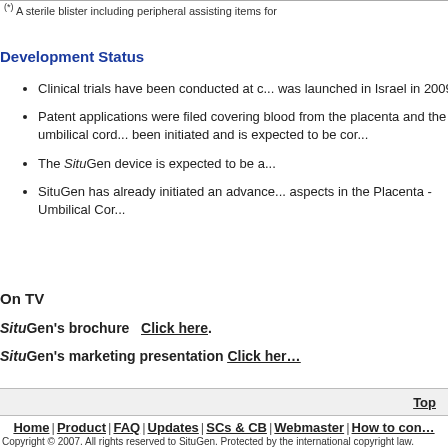(*) A sterile blister including peripheral assisting items for...
Development Status
Clinical trials have been conducted at c... was launched in Israel in 2009.
Patent applications were filed covering blood from the placenta and the umbilical cord... been initiated and is expected to be cor...
The SituGen device is expected to be a...
SituGen has already initiated an advance... aspects in the Placenta - Umbilical Cor...
On TV
SituGen's brochure   Click here.
SituGen's marketing presentation  Click here...
Top
Home | Product | FAQ | Updates | SCs & CB | Webmaster | How to con...
Copyright © 2007. All rights reserved to SituGen. Protected by the international copyright law.